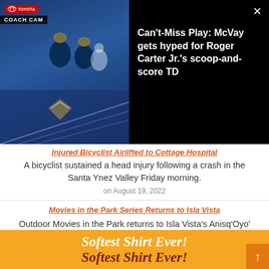[Figure (screenshot): Video thumbnail showing NFL players on field with Toyota Coach Cam overlay on left, and dark panel on right with white close button (×) and video title text]
Can't-Miss Play: McVay gets hyped for Roger Carter Jr.'s scoop-and-score TD
Injured Bicyclist Airlifted to Cottage Hospital
A bicyclist sustained a head injury following a crash in the Santa Ynez Valley Friday morning.
on August 19, 2022
Movies in the Park Series Returns to Isla Vista
Outdoor Movies in the Park returns to Isla Vista's Anisq'Oyo' Park amphitheater starting Friday night!
on August 19, 2022
[Figure (illustration): Orange advertisement banner with italic bold text 'Softest Shirt Ever!' in white and dark red/brown, with a scroll-up arrow button in bottom right corner]